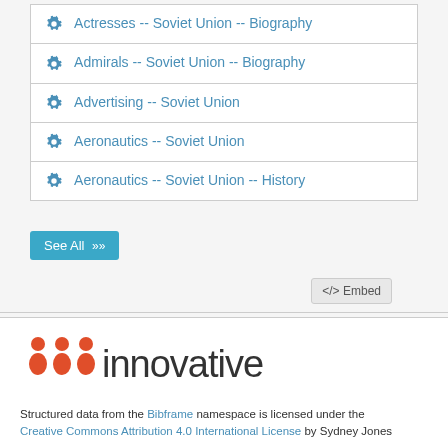Actresses -- Soviet Union -- Biography
Admirals -- Soviet Union -- Biography
Advertising -- Soviet Union
Aeronautics -- Soviet Union
Aeronautics -- Soviet Union -- History
See All
</> Embed
[Figure (logo): Innovative Interfaces logo with three orange people icons and the word 'innovative' in dark gray]
Structured data from the Bibframe namespace is licensed under the Creative Commons Attribution 4.0 International License by Sydney Jones